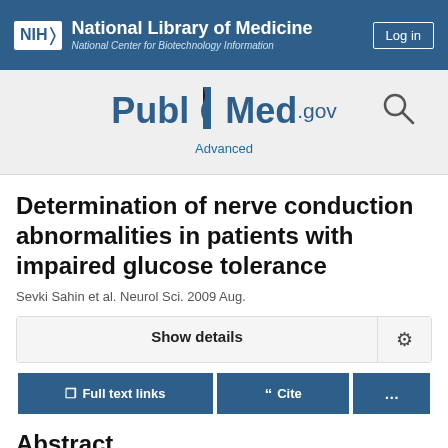NIH National Library of Medicine National Center for Biotechnology Information
[Figure (logo): PubMed.gov logo with search icon and Advanced link]
Determination of nerve conduction abnormalities in patients with impaired glucose tolerance
Sevki Sahin et al. Neurol Sci. 2009 Aug.
Show details
Full text links	Cite	...
Abstract